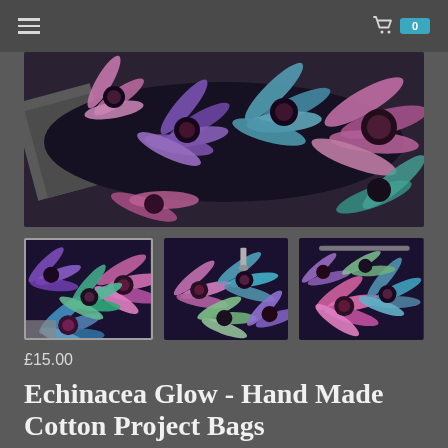Navigation header with hamburger menu and cart (0 items)
[Figure (photo): Main product photo: Dark fabric bags with colorful echinacea/coneflower print in pink, purple, blue and teal on black background, shown rolled or folded on a concrete surface]
[Figure (photo): Thumbnail 1: Close-up of project bag showing echinacea print fabric with blue, teal, pink and purple flowers on dark background, with grey lining visible]
[Figure (photo): Thumbnail 2: Project bag open/folded showing echinacea print fabric with zipper pull, multiple colors of flowers]
[Figure (photo): Thumbnail 3: Project bag showing echinacea print fabric with zipper, pink and teal flowers on dark background]
£15.00
Echinacea Glow - Hand Made Cotton Project Bags